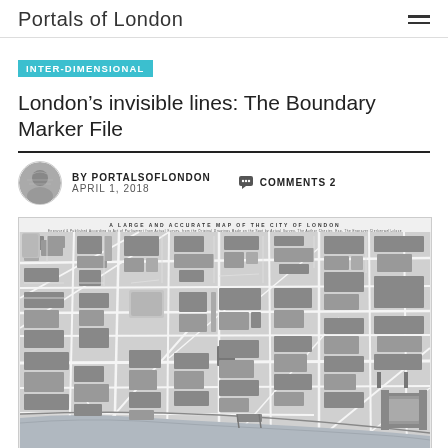Portals of London
INTER-DIMENSIONAL
London's invisible lines: The Boundary Marker File
BY PORTALSOFLONDON   COMMENTS 2   APRIL 1, 2018
[Figure (map): A large and accurate map of the City of London, black and white historical map showing streets, buildings, and the River Thames]